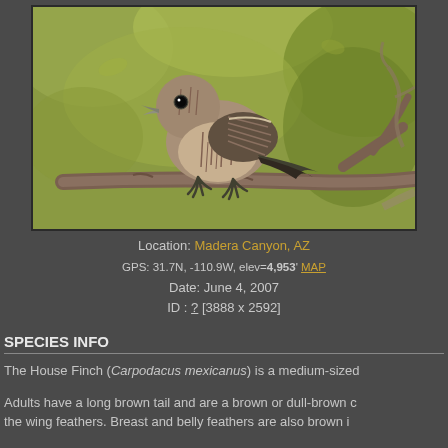[Figure (photo): House Finch bird perched on a branch, photographed at Madera Canyon, AZ. Brown and white streaked bird on a branch against a green background.]
Location: Madera Canyon, AZ
GPS: 31.7N, -110.9W, elev=4,953' MAP
Date: June 4, 2007
ID : ? [3888 x 2592]
SPECIES INFO
The House Finch (Carpodacus mexicanus) is a medium-sized
Adults have a long brown tail and are a brown or dull-brown c the wing feathers. Breast and belly feathers are also brown i